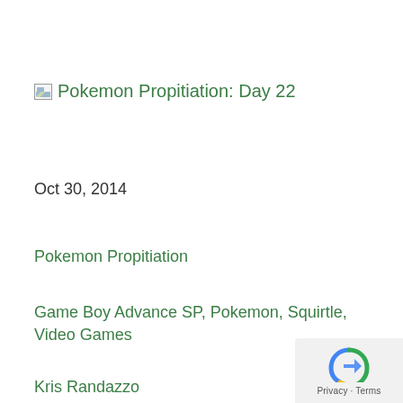Pokemon Propitiation: Day 22
Oct 30, 2014
Pokemon Propitiation
Game Boy Advance SP, Pokemon, Squirtle, Video Games
Kris Randazzo